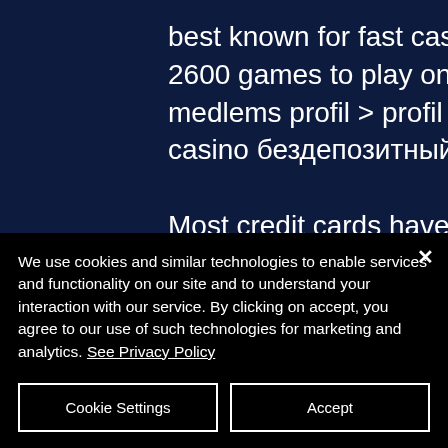best known for fast cashouts, multi-currency support and over 2600 games to play on all devices. Carmatch community - medlems profil &gt; profil side. Bruger: bitstarz jobs, bitstarz casino бездепозитный бонус, titel: nyt medlem,
Most credit cards have a limit, bitstarz vacancies. However, when you use cryptocurrency on your favourite online casino, then you can transfer as much as you want. No limit casino sites are one of the main advantages that come with the usage
We use cookies and similar technologies to enable services and functionality on our site and to understand your interaction with our service. By clicking on accept, you agree to our use of such technologies for marketing and analytics. See Privacy Policy
Cookie Settings
Accept